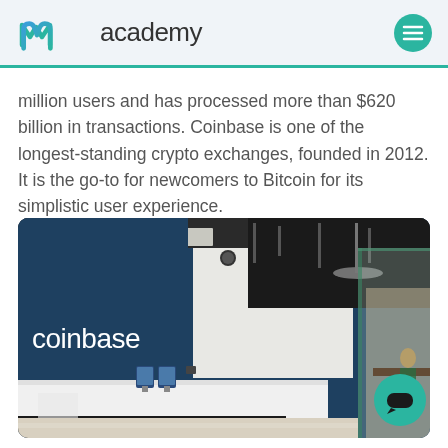academy
million users and has processed more than $620 billion in transactions. Coinbase is one of the longest-standing crypto exchanges, founded in 2012. It is the go-to for newcomers to Bitcoin for its simplistic user experience.
[Figure (photo): Coinbase office reception area with blue wall featuring the coinbase logo in white text, white reception desk with two tablet stands, industrial ceiling, and glass partition wall to the right with a person seated at a desk in the background.]